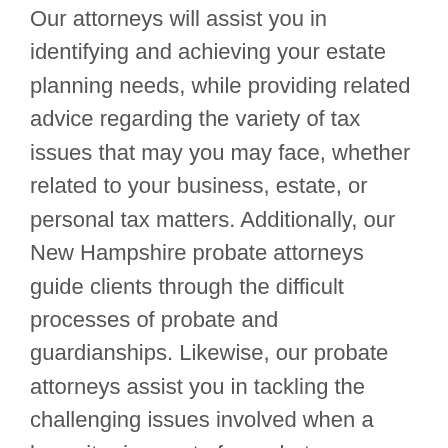Our attorneys will assist you in identifying and achieving your estate planning needs, while providing related advice regarding the variety of tax issues that may you may face, whether related to your business, estate, or personal tax matters. Additionally, our New Hampshire probate attorneys guide clients through the difficult processes of probate and guardianships. Likewise, our probate attorneys assist you in tackling the challenging issues involved when a lawsuit arises out of a probate or guardianship case.
At Parnell, Michels & McKay, we represent all different types of individuals who are looking for legal strategies in planning for the future. We f...